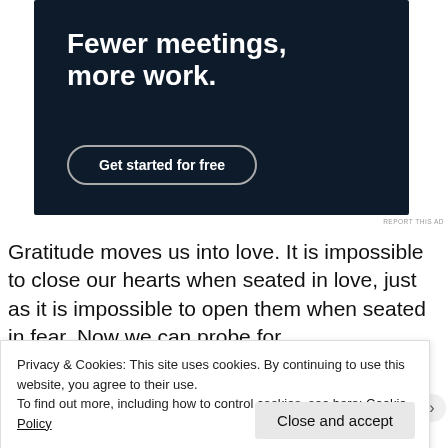[Figure (other): Advertisement banner with dark navy background showing 'Fewer meetings, more work.' headline and 'Get started for free' button]
REPORT THIS AD
Gratitude moves us into love. It is impossible to close our hearts when seated in love, just as it is impossible to open them when seated in fear. Now we can probe for t... a... .
Privacy & Cookies: This site uses cookies. By continuing to use this website, you agree to their use.
To find out more, including how to control cookies, see here: Cookie Policy
Close and accept